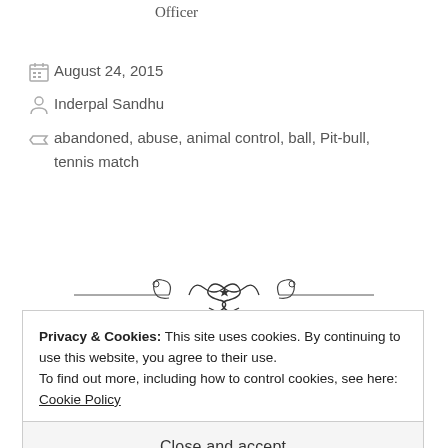Officer
August 24, 2015
Inderpal Sandhu
abandoned, abuse, animal control, ball, Pit-bull, tennis match
[Figure (illustration): Decorative ornamental divider with swirls and flourishes]
Privacy & Cookies: This site uses cookies. By continuing to use this website, you agree to their use.
To find out more, including how to control cookies, see here: Cookie Policy
Close and accept